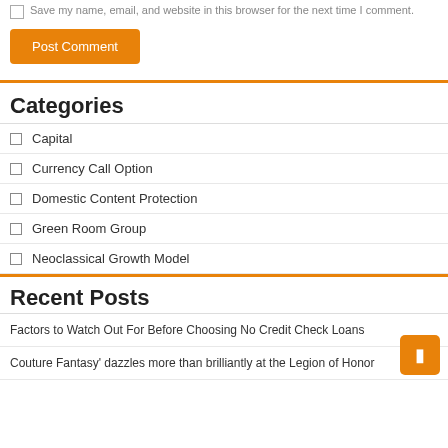Save my name, email, and website in this browser for the next time I comment.
Post Comment
Categories
Capital
Currency Call Option
Domestic Content Protection
Green Room Group
Neoclassical Growth Model
Recent Posts
Factors to Watch Out For Before Choosing No Credit Check Loans
Couture Fantasy' dazzles more than brilliantly at the Legion of Honor